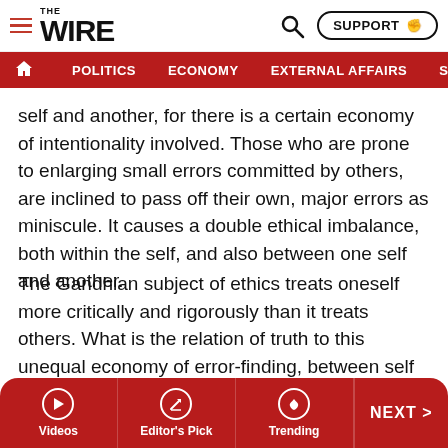THE WIRE — POLITICS | ECONOMY | EXTERNAL AFFAIRS | SECU…
self and another, for there is a certain economy of intentionality involved. Those who are prone to enlarging small errors committed by others, are inclined to pass off their own, major errors as miniscule. It causes a double ethical imbalance, both within the self, and also between one self and another.
The Gandhian subject of ethics treats oneself more critically and rigorously than it treats others. What is the relation of truth to this unequal economy of error-finding, between self and another? The answer to this question will perhaps best illuminate what Gandhi understood as truth and truth-seeking. And the answer is an ethical one, where
Videos | Editor's Pick | Trending | NEXT >